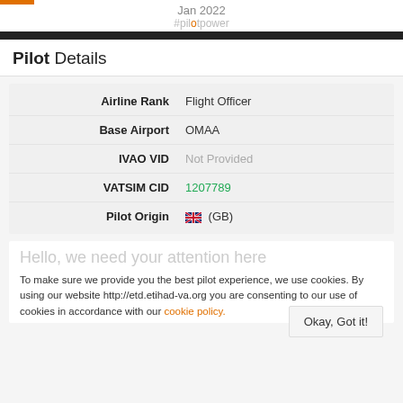Jan 2022 #pilotpower
Pilot Details
| Field | Value |
| --- | --- |
| Airline Rank | Flight Officer |
| Base Airport | OMAA |
| IVAO VID | Not Provided |
| VATSIM CID | 1207789 |
| Pilot Origin | (GB) |
Hello, we need your attention here
To make sure we provide you the best pilot experience, we use cookies. By using our website http://etd.etihad-va.org you are consenting to our use of cookies in accordance with our cookie policy.